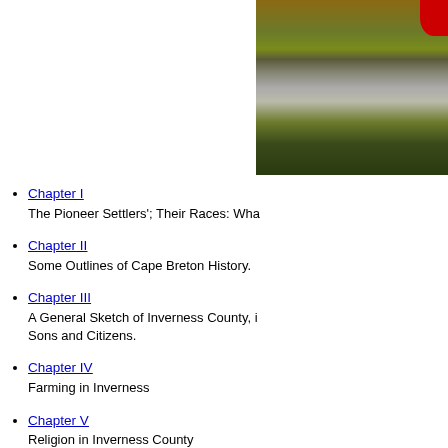[Figure (photo): Partial landscape/nature photo showing water, vegetation, and hills, partially cropped, with a red element in top-right corner. Black border visible.]
Chapter I — The Pioneer Settlers'; Their Races: Wha...
Chapter II — Some Outlines of Cape Breton History.
Chapter III — A General Sketch of Inverness County, its Sons and Citizens.
Chapter IV — Farming in Inverness
Chapter V — Religion in Inverness County